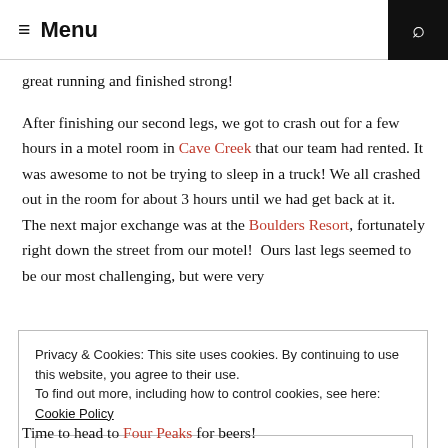Menu
great running and finished strong!
After finishing our second legs, we got to crash out for a few hours in a motel room in Cave Creek that our team had rented. It was awesome to not be trying to sleep in a truck! We all crashed out in the room for about 3 hours until we had get back at it.  The next major exchange was at the Boulders Resort, fortunately right down the street from our motel!  Ours last legs seemed to be our most challenging, but were very
Privacy & Cookies: This site uses cookies. By continuing to use this website, you agree to their use.
To find out more, including how to control cookies, see here: Cookie Policy
Close and accept
Time to head to Four Peaks for beers!